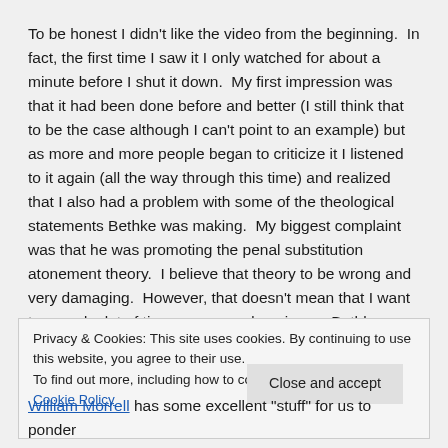To be honest I didn't like the video from the beginning.  In fact, the first time I saw it I only watched for about a minute before I shut it down.  My first impression was that it had been done before and better (I still think that to be the case although I can't point to an example) but as more and more people began to criticize it I listened to it again (all the way through this time) and realized that I also had a problem with some of the theological statements Bethke was making.  My biggest complaint was that he was promoting the penal substitution atonement theory.  I believe that theory to be wrong and very damaging.  However, that doesn't mean that I want to spend a lot of time or energy dumping on Bethke –
Privacy & Cookies: This site uses cookies. By continuing to use this website, you agree to their use.
To find out more, including how to control cookies, see here: Cookie Policy
Close and accept
William Morrell has some excellent "stuff" for us to ponder